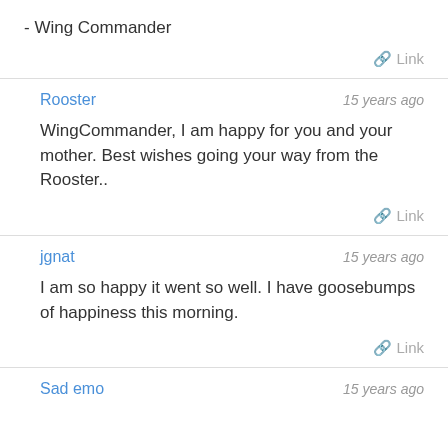- Wing Commander
Link
Rooster   15 years ago
WingCommander, I am happy for you and your mother. Best wishes going your way from the Rooster..
Link
jgnat   15 years ago
I am so happy it went so well. I have goosebumps of happiness this morning.
Link
Sad emo   15 years ago